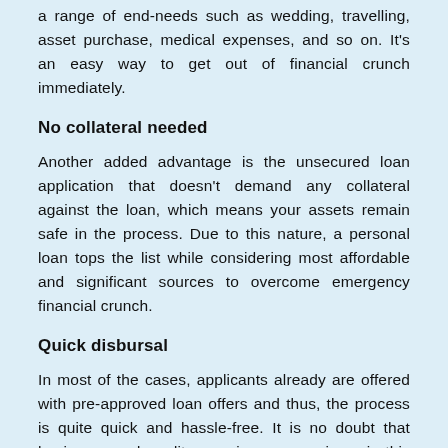a range of end-needs such as wedding, travelling, asset purchase, medical expenses, and so on. It's an easy way to get out of financial crunch immediately.
No collateral needed
Another added advantage is the unsecured loan application that doesn't demand any collateral against the loan, which means your assets remain safe in the process. Due to this nature, a personal loan tops the list while considering most affordable and significant sources to overcome emergency financial crunch.
Quick disbursal
In most of the cases, applicants already are offered with pre-approved loan offers and thus, the process is quite quick and hassle-free. It is no doubt that having a good credit score is a game winner in this process.